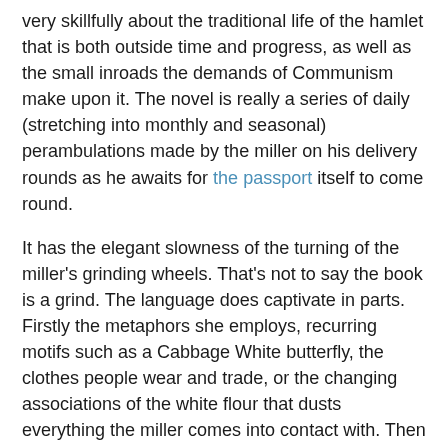very skillfully about the traditional life of the hamlet that is both outside time and progress, as well as the small inroads the demands of Communism make upon it. The novel is really a series of daily (stretching into monthly and seasonal) perambulations made by the miller on his delivery rounds as he awaits for the passport itself to come round.
It has the elegant slowness of the turning of the miller's grinding wheels. That's not to say the book is a grind. The language does captivate in parts. Firstly the metaphors she employs, recurring motifs such as a Cabbage White butterfly, the clothes people wear and trade, or the changing associations of the white flour that dusts everything the miller comes into contact with. Then there is the sentence structure itself. Often short, curt even, statements of an action. Followed by another and then a third, but often sparking a significance as the three rub together, again like grain being ground between the wheels.
This has the affect of Muller leading you by the hand, but a very tiny hand which your gentle reader's paw keeps slipping free of, leaving you alone to wander a terribly strange and